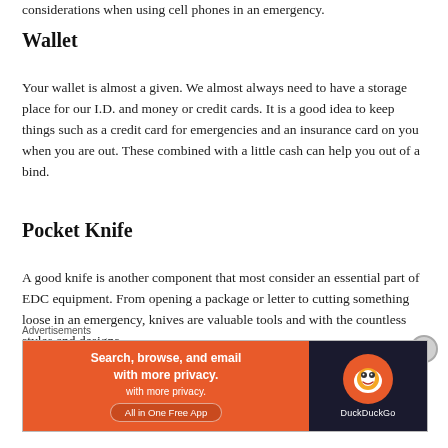considerations when using cell phones in an emergency.
Wallet
Your wallet is almost a given. We almost always need to have a storage place for our I.D. and money or credit cards. It is a good idea to keep things such as a credit card for emergencies and an insurance card on you when you are out. These combined with a little cash can help you out of a bind.
Pocket Knife
A good knife is another component that most consider an essential part of EDC equipment. From opening a package or letter to cutting something loose in an emergency, knives are valuable tools and with the countless styles and designs
Advertisements
[Figure (screenshot): DuckDuckGo advertisement banner: orange left panel with text 'Search, browse, and email with more privacy. All in One Free App', dark right panel with DuckDuckGo logo]